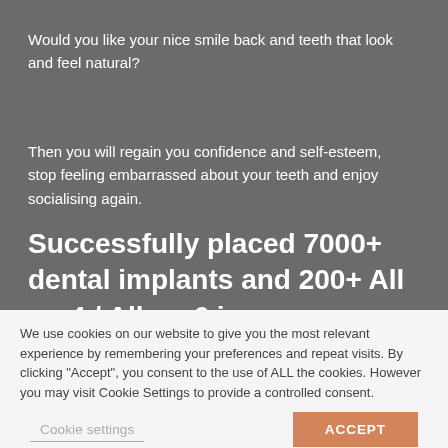Would you like your nice smile back and teeth that look and feel natural?
Then you will regain you confidence and self-esteem, stop feeling embarrassed about your teeth and enjoy socialising again.
Successfully placed 7000+ dental implants and 200+ All on 4 / All on 6 in
We use cookies on our website to give you the most relevant experience by remembering your preferences and repeat visits. By clicking "Accept", you consent to the use of ALL the cookies. However you may visit Cookie Settings to provide a controlled consent.
Cookie settings
ACCEPT